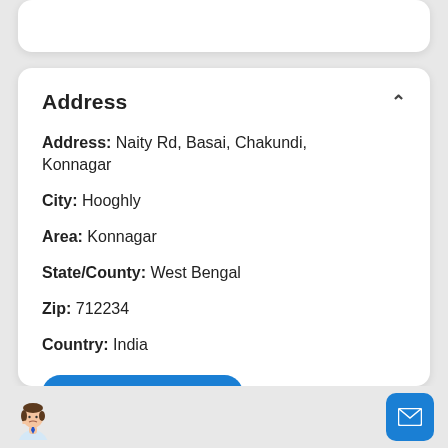Address
Address: Naity Rd, Basai, Chakundi, Konnagar
City: Hooghly
Area: Konnagar
State/County: West Bengal
Zip: 712234
Country: India
Open In Google Maps